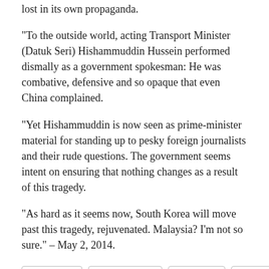lost in its own propaganda.
“To the outside world, acting Transport Minister (Datuk Seri) Hishammuddin Hussein performed dismally as a government spokesman: He was combative, defensive and so opaque that even China complained.
“Yet Hishammuddin is now seen as prime-minister material for standing up to pesky foreign journalists and their rude questions. The government seems intent on ensuring that nothing changes as a result of this tragedy.
“As hard as it seems now, South Korea will move past this tragedy, rejuvenated. Malaysia? I’m not so sure.” – May 2, 2014.
Twitter | Facebook | Email | Print